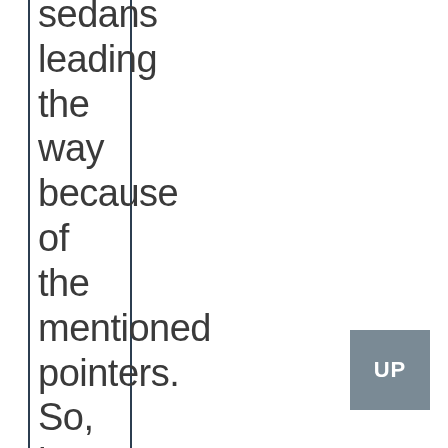sedans leading the way because of the mentioned pointers. So, how have cars become smarter
[Figure (other): A grey square button with white text reading 'UP' in the bottom-right corner of the page]